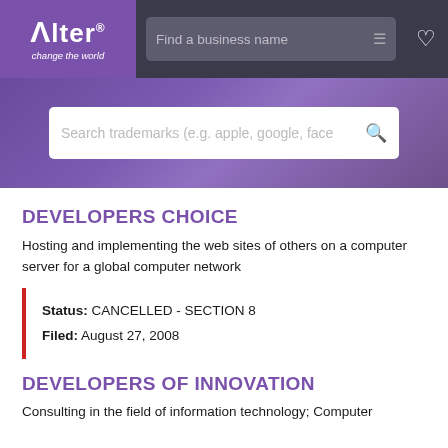Alter — change the world | Find a business name
[Figure (screenshot): Search trademarks search bar on purple banner background]
DEVELOPERS CHOICE
Hosting and implementing the web sites of others on a computer server for a global computer network
Status: CANCELLED - SECTION 8
Filed: August 27, 2008
DEVELOPERS OF INNOVATION
Consulting in the field of information technology; Computer